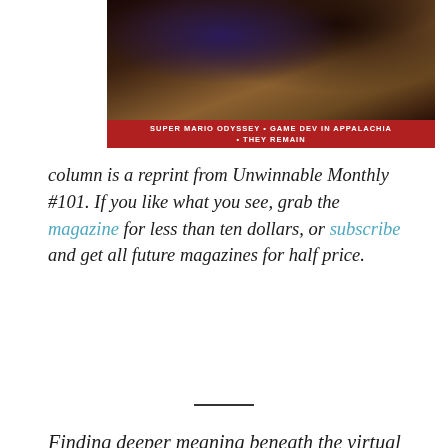[Figure (photo): Magazine cover image showing people in a boat with a dark painted artwork style, with a red banner reading 'SUPER MARIO ODYSSEY • GAME DEV IN APPALACHIA • THEY REMAIN']
column is a reprint from Unwinnable Monthly #101. If you like what you see, grab the magazine for less than ten dollars, or subscribe and get all future magazines for half price.
Finding deeper meaning beneath the virtual surface
Whenever I spend time with my mom in